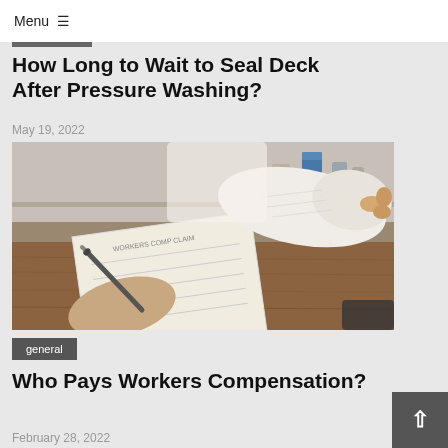Menu ≡
How Long to Wait to Seal Deck After Pressure Washing?
May 19, 2022
[Figure (photo): Person with arm cast signing a document on a wooden desk, holding a pen with one hand while the other arm is wrapped in a white cast]
general
Who Pays Workers Compensation?
February 28, 2022